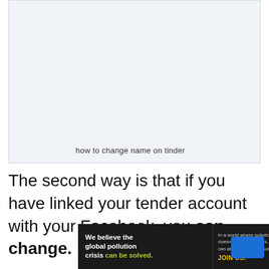[Figure (screenshot): Light blue-gray rectangular image area with a caption below reading 'how to change name on tinder']
how to change name on tinder
The second way is that if you have linked your tender account with your Facebook, you can change.
[Figure (other): Advertisement banner for Pure Earth organization. Black background. Left side: 'We believe the global pollution crisis can be solved.' (with 'can be solved' in green/yellow). Middle: 'In a world where pollution doesn't stop at borders, we can all be part of the solution. JOIN US.' Right side: Pure Earth logo with diamond/arrow icon and text 'PURE EARTH' in white.]